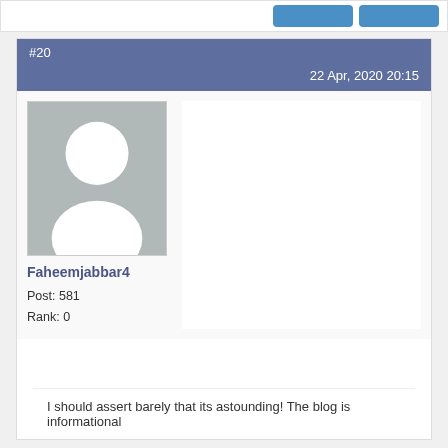[Figure (screenshot): Top bar with two blue buttons on the right]
#20
22 Apr, 2020 20:15
[Figure (photo): Default avatar placeholder with grey background showing a white silhouette of a person]
Faheemjabbar4
Post: 581
Rank: 0
I should assert barely that its astounding! The blog is informational